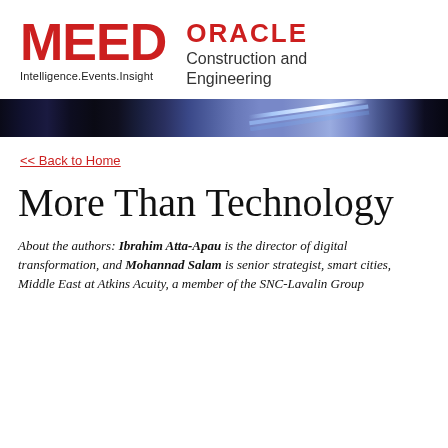[Figure (logo): MEED logo with tagline 'Intelligence.Events.Insight' in black text below red MEED letters, alongside Oracle Construction and Engineering logo in red and dark grey text]
[Figure (photo): Dark banner image with blue diagonal light streaks/rays on a dark navy/black background]
<< Back to Home
More Than Technology
About the authors: Ibrahim Atta-Apau is the director of digital transformation, and Mohannad Salam is senior strategist, smart cities, Middle East at Atkins Acuity, a member of the SNC-Lavalin Group